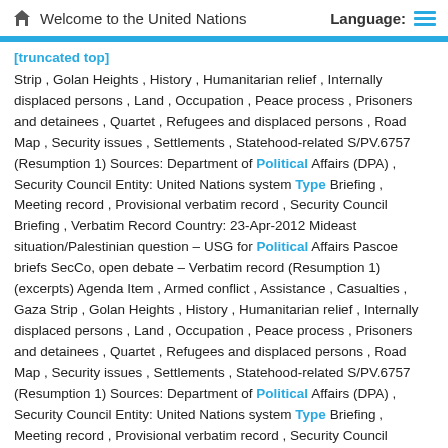Welcome to the United Nations   Language:
Strip , Golan Heights , History , Humanitarian relief , Internally displaced persons , Land , Occupation , Peace process , Prisoners and detainees , Quartet , Refugees and displaced persons , Road Map , Security issues , Settlements , Statehood-related S/PV.6757 (Resumption 1) Sources: Department of Political Affairs (DPA) , Security Council Entity: United Nations system Type Briefing , Meeting record , Provisional verbatim record , Security Council Briefing , Verbatim Record Country: 23-Apr-2012 Mideast situation/Palestinian question – USG for Political Affairs Pascoe briefs SecCo, open debate – Verbatim record (Resumption 1) (excerpts) Agenda Item , Armed conflict , Assistance , Casualties , Gaza Strip , Golan Heights , History , Humanitarian relief , Internally displaced persons , Land , Occupation , Peace process , Prisoners and detainees , Quartet , Refugees and displaced persons , Road Map , Security issues , Settlements , Statehood-related S/PV.6757 (Resumption 1) Sources: Department of Political Affairs (DPA) , Security Council Entity: United Nations system Type Briefing , Meeting record , Provisional verbatim record , Security Council Briefing , Verbatim Record Country: 23-Apr-2012 UN official hopes exchange of letters can help advance Israeli-Palestinian dialogue – SecCo briefing – UN news item House demolitions , Internally displaced persons , Palestine question , Peace process , Peace proposals and efforts , Quartet Isr-Pal_ExchangeOfLetters Sources: Department of Political Affairs (DPA) , Department of Public Information (DPI) , Office for the Coordination of Humanitarian Affairs (OCHA) , Security Council , United Nations News